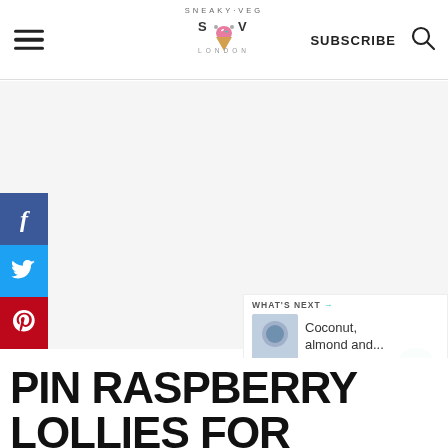SNEAKY-VEG S·V LONDON | SUBSCRIBE
[Figure (screenshot): White/gray content area placeholder in the middle of the page]
[Figure (infographic): Social share sidebar with Facebook (f), Twitter (bird), and Pinterest (p) icons]
[Figure (infographic): Heart button (teal circle) with count 78, and share icon below]
[Figure (infographic): What's Next panel with small thumbnail and text 'Coconut, almond and...']
PIN RASPBERRY LOLLIES FOR LATER